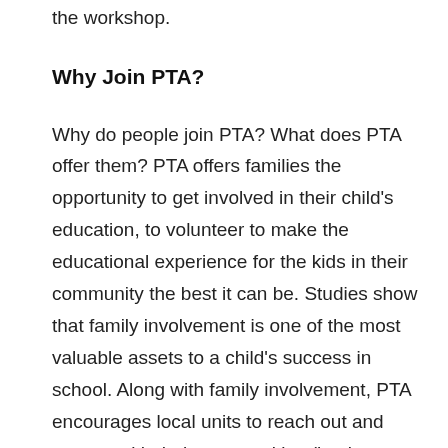the workshop.
Why Join PTA?
Why do people join PTA? What does PTA offer them? PTA offers families the opportunity to get involved in their child's education, to volunteer to make the educational experience for the kids in their community the best it can be. Studies show that family involvement is one of the most valuable assets to a child's success in school. Along with family involvement, PTA encourages local units to reach out and partner with their communities (businesses, city councils, service clubs, chambers of commerce, etc.)